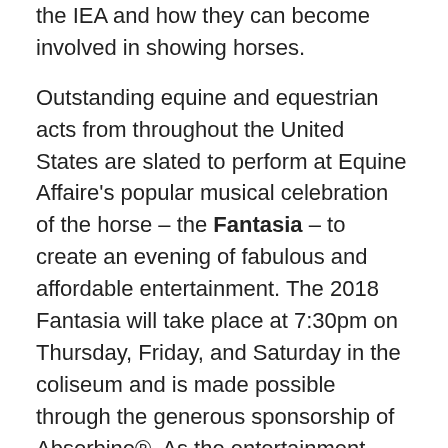the IEA and how they can become involved in showing horses.
Outstanding equine and equestrian acts from throughout the United States are slated to perform at Equine Affaire's popular musical celebration of the horse – the Fantasia – to create an evening of fabulous and affordable entertainment. The 2018 Fantasia will take place at 7:30pm on Thursday, Friday, and Saturday in the coliseum and is made possible through the generous sponsorship of Absorbine®. As the entertainment cornerstone of Equine Affaire, the Fantasia showcases the beauty, diversity, talent, and spirit of horses of a great variety of breeds and disciplines and provides the perfect ending to a busy day of activities at Equine Affaire. With just the right mix of comedy, drama, action, stunning horses,